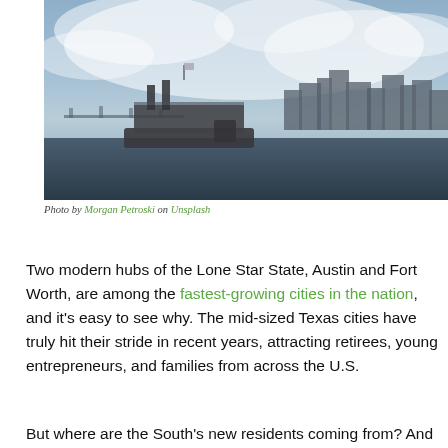[Figure (photo): City skyline with a riverboat on a river in the foreground, under a cloudy sky. Likely New Orleans or a Southern US city.]
Photo by Morgan Petroski on Unsplash
Two modern hubs of the Lone Star State, Austin and Fort Worth, are among the fastest-growing cities in the nation, and it's easy to see why. The mid-sized Texas cities have truly hit their stride in recent years, attracting retirees, young entrepreneurs, and families from across the U.S.
But where are the South's new residents coming from? And